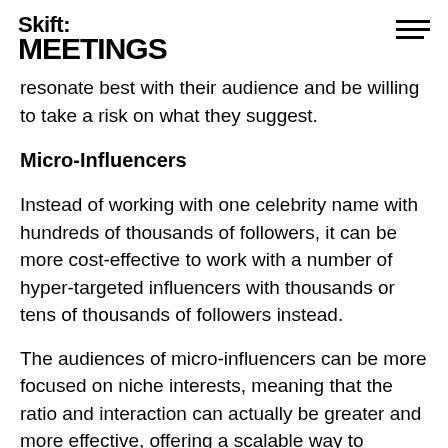Skift MEETINGS
resonate best with their audience and be willing to take a risk on what they suggest.
Micro-Influencers
Instead of working with one celebrity name with hundreds of thousands of followers, it can be more cost-effective to work with a number of hyper-targeted influencers with thousands or tens of thousands of followers instead.
The audiences of micro-influencers can be more focused on niche interests, meaning that the ratio and interaction can actually be greater and more effective, offering a scalable way to combine